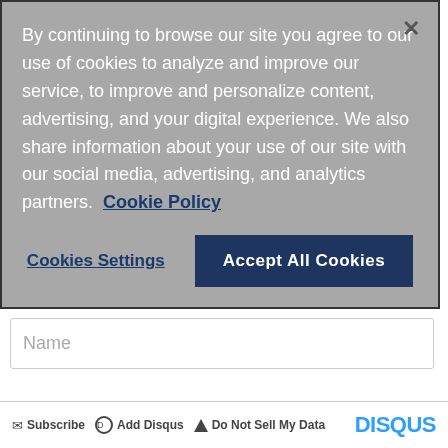By continuing to browse our site you agree to our use of cookies to analyze and improve our service, to improve and personalize content, advertising, and your digital experience. We also share information about your use of our site with our social media, advertising, and analytics partners.  Cookie Policy
Cookies Settings
Accept All Cookies
Name
Be the first to comment.
Subscribe  Add Disqus  Do Not Sell My Data   DISQUS